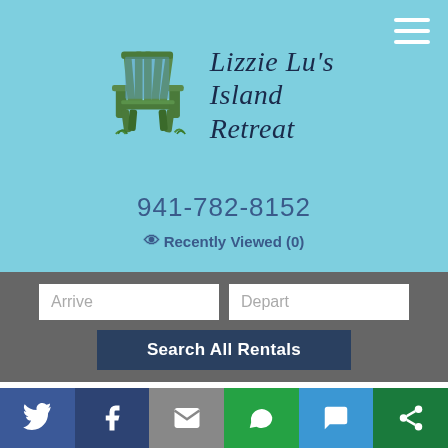[Figure (logo): Lizzie Lu's Island Retreat logo with Adirondack chair illustration and brand name in italic script]
941-782-8152
Recently Viewed (0)
Arrive
Depart
Search All Rentals
Golf Courses Near
[Figure (infographic): Social share bar with Twitter, Facebook, Email, WhatsApp, SMS, and Share icons]